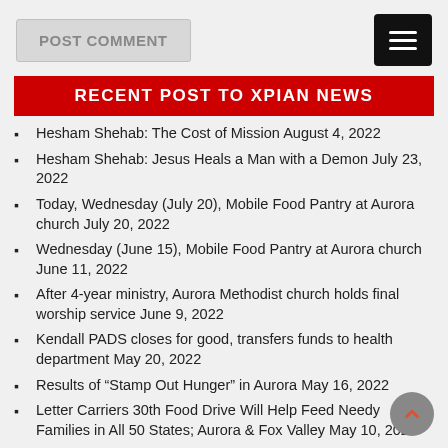POST COMMENT
RECENT POST TO XPIAN NEWS
Hesham Shehab: The Cost of Mission August 4, 2022
Hesham Shehab: Jesus Heals a Man with a Demon July 23, 2022
Today, Wednesday (July 20), Mobile Food Pantry at Aurora church July 20, 2022
Wednesday (June 15), Mobile Food Pantry at Aurora church June 11, 2022
After 4-year ministry, Aurora Methodist church holds final worship service June 9, 2022
Kendall PADS closes for good, transfers funds to health department May 20, 2022
Results of “Stamp Out Hunger” in Aurora May 16, 2022
Letter Carriers 30th Food Drive Will Help Feed Needy Families in All 50 States; Aurora & Fox Valley May 10, 2022
Closing: Aurora’s SciTech Hands-On Museum Announces